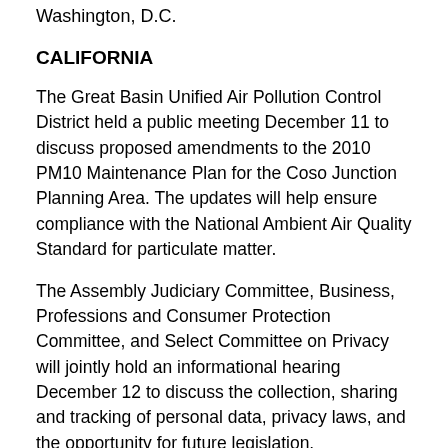Washington, D.C.
CALIFORNIA
The Great Basin Unified Air Pollution Control District held a public meeting December 11 to discuss proposed amendments to the 2010 PM10 Maintenance Plan for the Coso Junction Planning Area. The updates will help ensure compliance with the National Ambient Air Quality Standard for particulate matter.
The Assembly Judiciary Committee, Business, Professions and Consumer Protection Committee, and Select Committee on Privacy will jointly hold an informational hearing December 12 to discuss the collection, sharing and tracking of personal data, privacy laws, and the opportunity for future legislation.
CONNECTICUT
The Joint Committee on Appropriations and the Joint Committee Public Health Committees will meet December